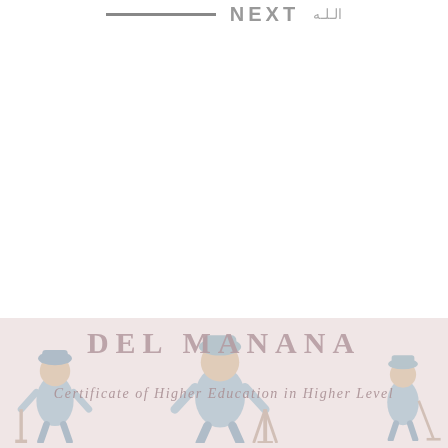NEXT / الـلـه
[Figure (illustration): Decorative banner with toy soldier illustrations and text 'DEL MANANA' and 'Certificate of Higher Education in Higher Level']
DEL MANANA
Certificate of Higher Education in Higher Level